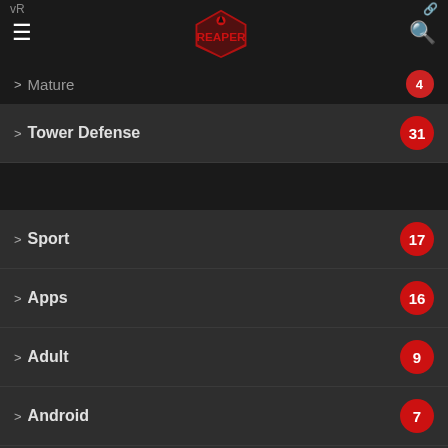vR
Tower Defense 31
Sport 17
Apps 16
Adult 9
Android 7
Early Access 3
We use cookies on our website to give you the most relevant experience by remembering your preferences and repeat visits. By clicking “Accept”, you consent to the use of ALL the cookies.
Cookie settings  ACCEPT